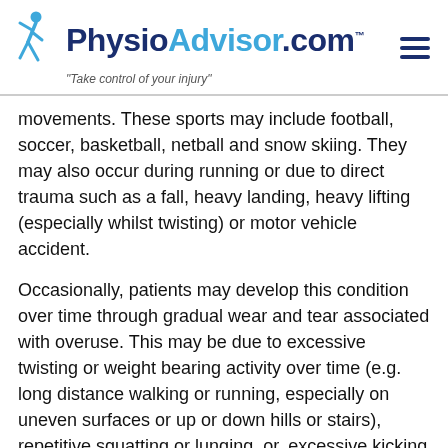PhysioAdvisor.com — Take control of your injury
movements. These sports may include football, soccer, basketball, netball and snow skiing. They may also occur during running or due to direct trauma such as a fall, heavy landing, heavy lifting (especially whilst twisting) or motor vehicle accident.
Occasionally, patients may develop this condition over time through gradual wear and tear associated with overuse. This may be due to excessive twisting or weight bearing activity over time (e.g. long distance walking or running, especially on uneven surfaces or up or down hills or stairs), repetitive squatting or lunging, or, excessive kicking (e.g. in football, dancing or martial arts). In older patients, degenerative changes to the hip joint may also be present. In these instances, injury to the